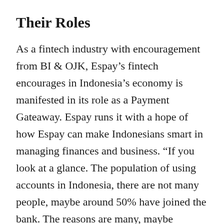Their Roles
As a fintech industry with encouragement from BI & OJK, Espay’s fintech encourages in Indonesia’s economy is manifested in its role as a Payment Gateaway. Espay runs it with a hope of how Espay can make Indonesians smart in managing finances and business. “If you look at a glance. The population of using accounts in Indonesia, there are not many people, maybe around 50% have joined the bank. The reasons are many, maybe because it is pretty much complicating, and they don’t know much about technology”. Joshua’s response as Espay’s Co-Founder is also someone who has been in the field of Information Systems